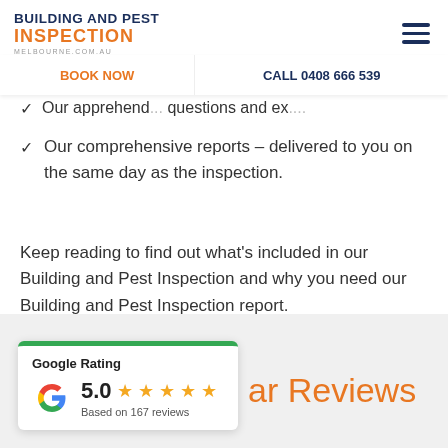Building and Pest Inspection Melbourne.com.au
Our comprehensive reports – delivered to you on the same day as the inspection.
Keep reading to find out what's included in our Building and Pest Inspection and why you need our Building and Pest Inspection report.
[Figure (other): Google Rating widget showing 5.0 stars based on 167 reviews, with green top border and Google G logo]
ar Reviews